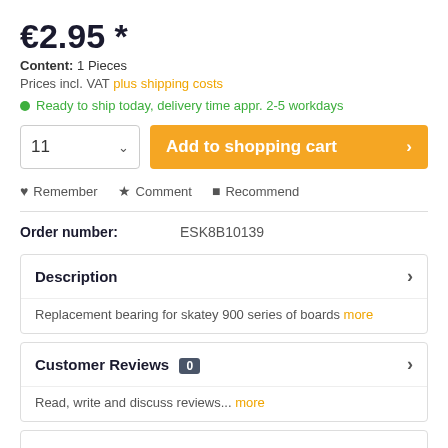€2.95 *
Content: 1 Pieces
Prices incl. VAT plus shipping costs
Ready to ship today, delivery time appr. 2-5 workdays
11  Add to shopping cart >
Remember
Comment
Recommend
Order number: ESK8B10139
Description >
Replacement bearing for skatey 900 series of boards more
Customer Reviews 0 >
Read, write and discuss reviews... more
Similar products +